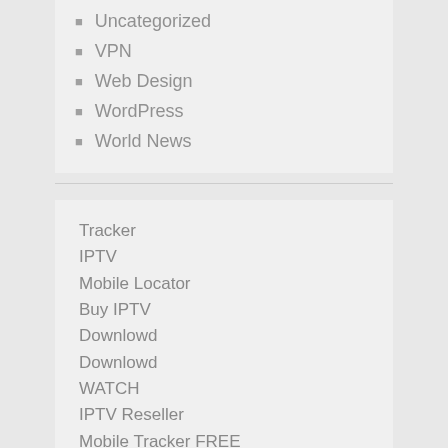Uncategorized
VPN
Web Design
WordPress
World News
Tracker
IPTV
Mobile Locator
Buy IPTV
Downlowd
Downlowd
WATCH
IPTV Reseller
Mobile Tracker FREE
12 MONTHS
BUY IPTV 12 MONTHS
IPTV 12 MONTHS
buy iptv server